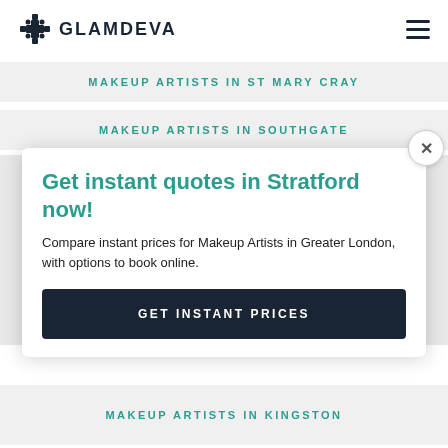GLAMDEVA
MAKEUP ARTISTS IN ST MARY CRAY
MAKEUP ARTISTS IN SOUTHGATE
Get instant quotes in Stratford now!
Compare instant prices for Makeup Artists in Greater London, with options to book online.
GET INSTANT PRICES
MAKEUP ARTISTS IN KINGSTON